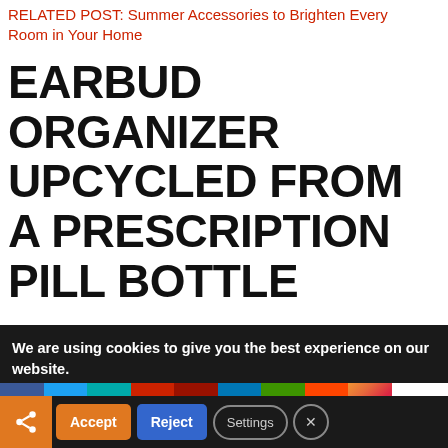RELATED POST: Summer Accessories to Brighten Every Room in Your Home
EARBUD ORGANIZER UPCYCLED FROM A PRESCRIPTION PILL BOTTLE
First up is an earbud organizer that I made from an upcycled pill bottle. I hate when my earbuds get tangled up in my tote bag or desk. This prevents that and keeps
We are using cookies to give you the best experience on our website.
You can find out more about which cookies we are using or
[Figure (infographic): Social media share bar with icons for Facebook, Twitter, MW, Parler, unknown, LinkedIn, Goodreads, Reddit, Instagram, and Tweet label]
Accept  Reject  Settings  X